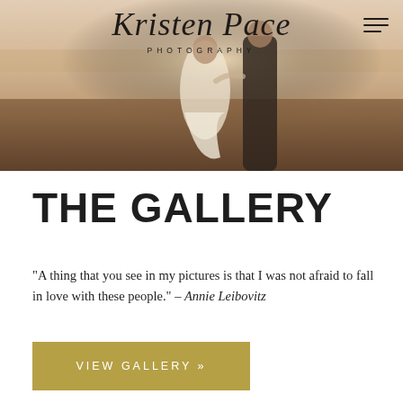[Figure (photo): Hero banner showing a couple on a beach at golden hour. Woman in white flowing dress, man in dark clothing. Warm sandy tones.]
Kristen Pace PHOTOGRAPHY
THE GALLERY
“A thing that you see in my pictures is that I was not afraid to fall in love with these people.” – Annie Leibovitz
VIEW GALLERY »